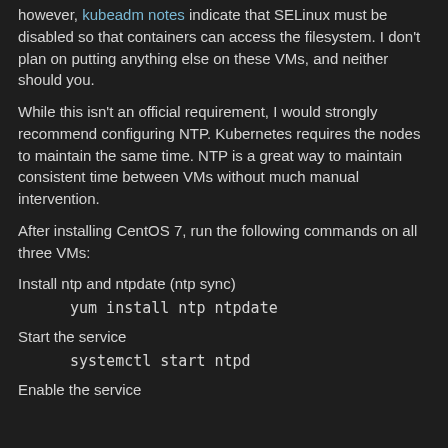however, kubeadm notes indicate that SELinux must be disabled so that containers can access the filesystem. I don't plan on putting anything else on these VMs, and neither should you.
While this isn't an official requirement, I would strongly recommend configuring NTP. Kubernetes requires the nodes to maintain the same time. NTP is a great way to maintain consistent time between VMs without much manual intervention.
After installing CentOS 7, run the following commands on all three VMs:
Install ntp and ntpdate (ntp sync)
yum install ntp ntpdate
Start the service
systemctl start ntpd
Enable the service